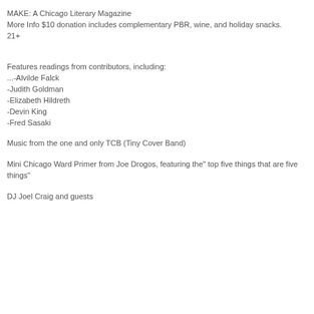MAKE: A Chicago Literary Magazine
More Info $10 donation includes complementary PBR, wine, and holiday snacks.
21+
Features readings from contributors, including:
...-Alvilde Falck
-Judith Goldman
-Elizabeth Hildreth
-Devin King
-Fred Sasaki
Music from the one and only TCB (Tiny Cover Band)
Mini Chicago Ward Primer from Joe Drogos, featuring the" top five things that are five things"
DJ Joel Craig and guests